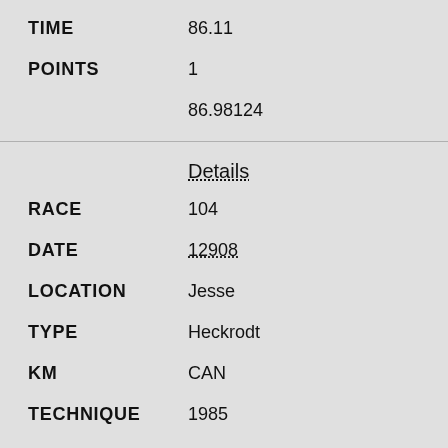TIME    86.11
POINTS    1
86.98124
Details
RACE    104
DATE    12908
LOCATION    Jesse
TYPE    Heckrodt
KM    CAN
TECHNIQUE    1985